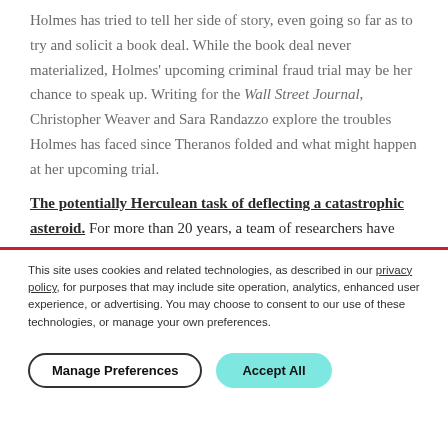Holmes has tried to tell her side of story, even going so far as to try and solicit a book deal. While the book deal never materialized, Holmes' upcoming criminal fraud trial may be her chance to speak up. Writing for the Wall Street Journal, Christopher Weaver and Sara Randazzo explore the troubles Holmes has faced since Theranos folded and what might happen at her upcoming trial.
The potentially Herculean task of deflecting a catastrophic asteroid. For more than 20 years, a team of researchers have
This site uses cookies and related technologies, as described in our privacy policy, for purposes that may include site operation, analytics, enhanced user experience, or advertising. You may choose to consent to our use of these technologies, or manage your own preferences.
Manage Preferences | Accept All